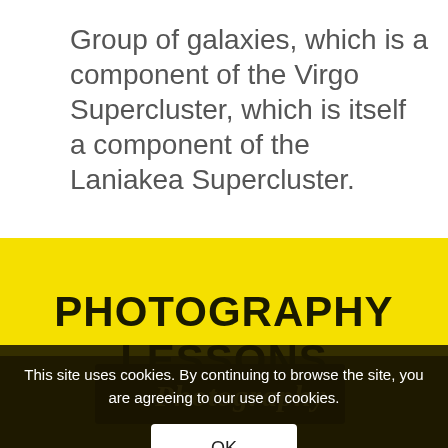Group of galaxies, which is a component of the Virgo Supercluster, which is itself a component of the Laniakea Supercluster.
PHOTOGRAPHY LESSONS
[Figure (photo): Dark photograph showing a face with the word 'Photography' as a watermark overlay, displayed on a yellow background section]
This site uses cookies. By continuing to browse the site, you are agreeing to our use of cookies.